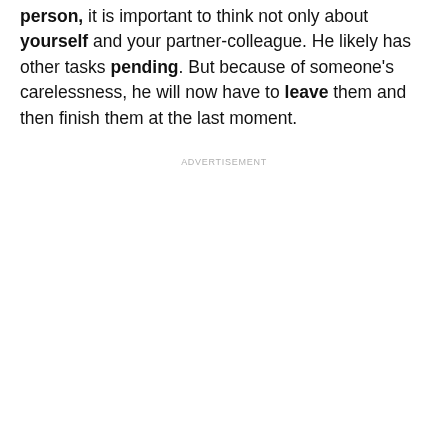person, it is important to think not only about yourself and your partner-colleague. He likely has other tasks pending. But because of someone's carelessness, he will now have to leave them and then finish them at the last moment.
ADVERTISEMENT